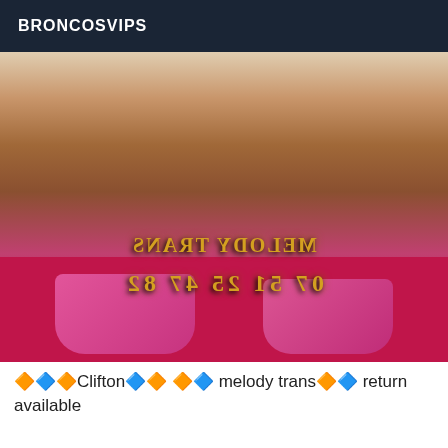BRONCOSVIPS
[Figure (photo): Photo showing a person wearing pink high heels and pink lace lingerie, sitting on a pink carpet near a white couch. Mirrored text overlaid on image reads 'MELODY TRANS' and phone number '07 51 25 47 82']
🔶🔷🔶Clifton🔷🔶 🔶🔷 melody trans🔶🔷 return available